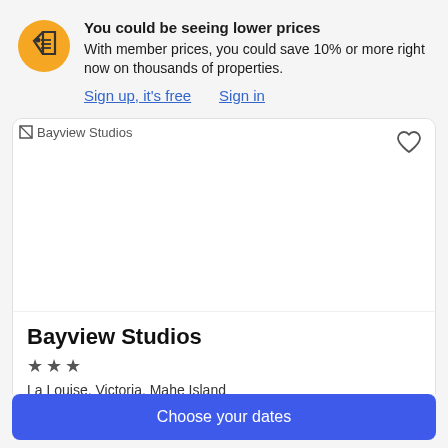[Figure (logo): Yellow circular icon with a price tag symbol in dark outline]
You could be seeing lower prices
With member prices, you could save 10% or more right now on thousands of properties.
Sign up, it's free   Sign in
[Figure (photo): Bayview Studios hotel image placeholder]
Bayview Studios
★★★
La Louise, Victoria, Mahe Island
Choose your dates